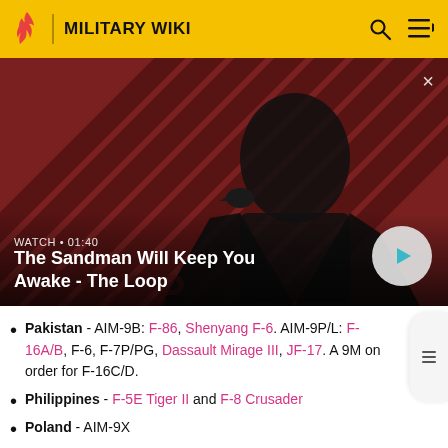MILITARY WIKI
[Figure (screenshot): Video thumbnail for 'The Sandman Will Keep You Awake - The Loop' showing a dark figure with a raven on their shoulder against a red and black striped background. Shows WATCH • 01:40 and a play button.]
Pakistan - AIM-9B: F-86, Shenyang F-6. AIM-9P/L: F-16A/B, F-6, F-7P/PG, Dassault Mirage III, JF-17. A 9M on order for F-16C/D.
Philippines - F-5E Tiger II and F-8 Crusader
Poland - AIM-9X